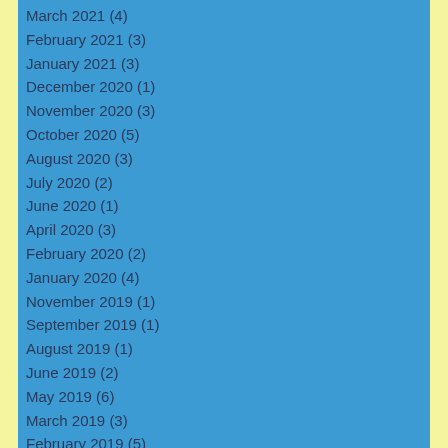March 2021 (4)
February 2021 (3)
January 2021 (3)
December 2020 (1)
November 2020 (3)
October 2020 (5)
August 2020 (3)
July 2020 (2)
June 2020 (1)
April 2020 (3)
February 2020 (2)
January 2020 (4)
November 2019 (1)
September 2019 (1)
August 2019 (1)
June 2019 (2)
May 2019 (6)
March 2019 (3)
February 2019 (5)
January 2019 (6)
December 2018 (1)
November 2018 (2)